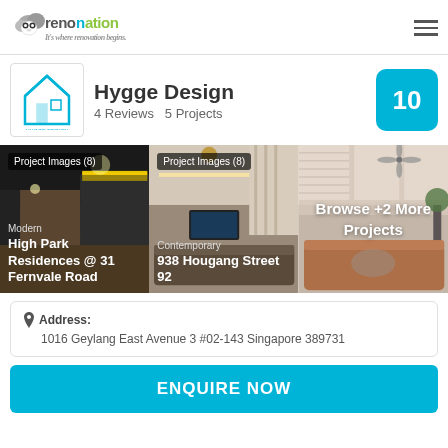renonation - It's where renovation begins.
Hygge Design
4 Reviews   5 Projects
10
[Figure (photo): Project Images (8) - Modern - High Park Residences @ 31 Fernvale Road]
[Figure (photo): Project Images (8) - Contemporary - 938 Hougang Street 92]
[Figure (photo): Browse +2 More Projects]
Address:
1016 Geylang East Avenue 3 #02-143 Singapore 389731
ENQUIRE NOW